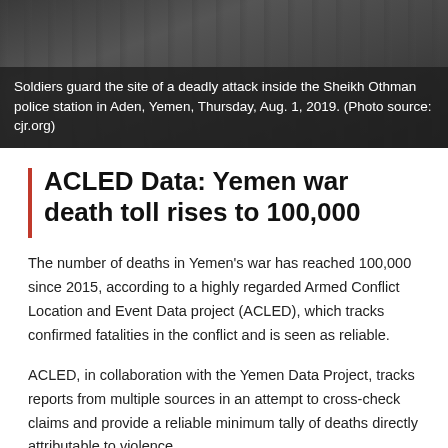[Figure (photo): Soldiers guarding the site of a deadly attack inside the Sheikh Othman police station in Aden, Yemen. Dark/military scene with soldiers visible.]
Soldiers guard the site of a deadly attack inside the Sheikh Othman police station in Aden, Yemen, Thursday, Aug. 1, 2019. (Photo source: cjr.org)
ACLED Data: Yemen war death toll rises to 100,000
The number of deaths in Yemen's war has reached 100,000 since 2015, according to a highly regarded Armed Conflict Location and Event Data project (ACLED), which tracks confirmed fatalities in the conflict and is seen as reliable.
ACLED, in collaboration with the Yemen Data Project, tracks reports from multiple sources in an attempt to cross-check claims and provide a reliable minimum tally of deaths directly attributable to violence.
The figure include 12,000 civilian deaths in directly targeted attacks. It said 20,000 people had been reported killed this year, making it the